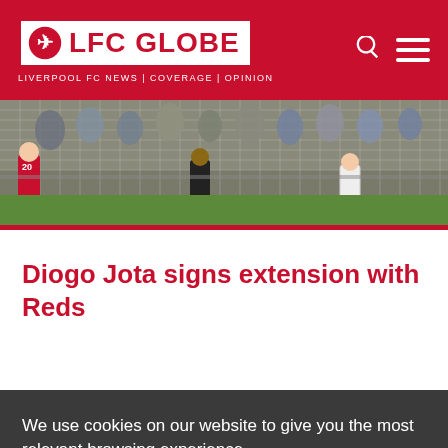LFC GLOBE | LIVERPOOL FC NEWS | COVERAGE | OPINION
[Figure (photo): Football match photo showing players near goal net with crowd in background]
Diogo Jota signs extension with Reds
We use cookies on our website to give you the most relevant browsing experience.
[Figure (photo): Ryder Cup advertisement banner with GET TICKET UPDATES text and golfers]